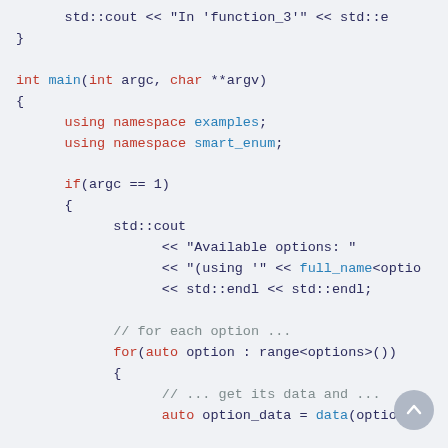Code snippet showing C++ main function with namespace declarations, if statement, for loop over enum range, and output statements using std::cout